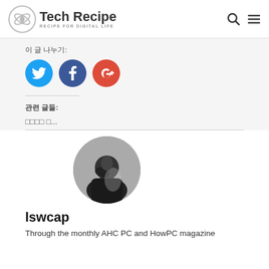Tech Recipe — RECIPE FOR DIGITAL LIFE
이 글 나누기:
[Figure (other): Social share buttons: Twitter (blue circle), Facebook (dark blue circle), Google+ (red circle)]
관련 글들:
□□□□ □...
[Figure (photo): Circular black and white author profile photo of a person looking down]
lswcap
Through the monthly AHC PC and HowPC magazine